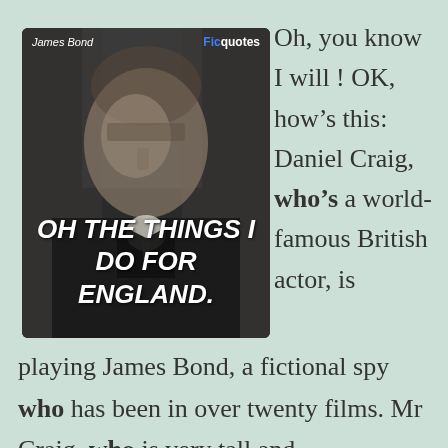[Figure (photo): A black and white movie still showing a man in a dark suit (Sean Connery as James Bond) with overlaid bold italic white text reading 'OH THE THINGS I DO FOR ENGLAND.' and a top bar showing 'James Bond' and 'Ficquotes' branding.]
Oh, you know I will ! OK, how's this: Daniel Craig, who's a world-famous British actor, is playing James Bond, a fictional spy who has been in over twenty films. Mr Craig, who is very tall and